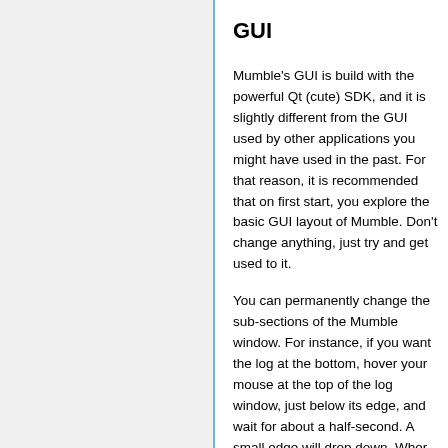GUI
Mumble's GUI is build with the powerful Qt (cute) SDK, and it is slightly different from the GUI used by other applications you might have used in the past. For that reason, it is recommended that on first start, you explore the basic GUI layout of Mumble. Don't change anything, just try and get used to it.
You can permanently change the sub-sections of the Mumble window. For instance, if you want the log at the bottom, hover your mouse at the top of the log window, just below its edge, and wait for about a half-second. A small edge will drop down. Wher